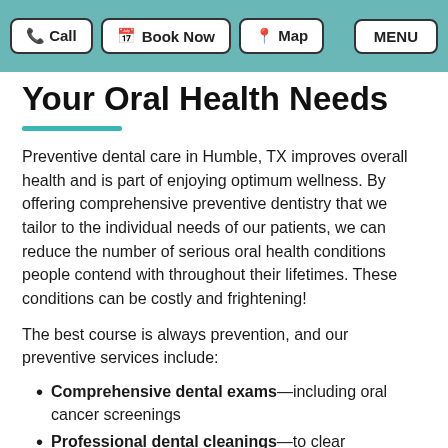Call  Book Now  Map  MENU
Your Oral Health Needs
Preventive dental care in Humble, TX improves overall health and is part of enjoying optimum wellness. By offering comprehensive preventive dentistry that we tailor to the individual needs of our patients, we can reduce the number of serious oral health conditions people contend with throughout their lifetimes. These conditions can be costly and frightening!
The best course is always prevention, and our preventive services include:
Comprehensive dental exams—including oral cancer screenings
Professional dental cleanings—to clear